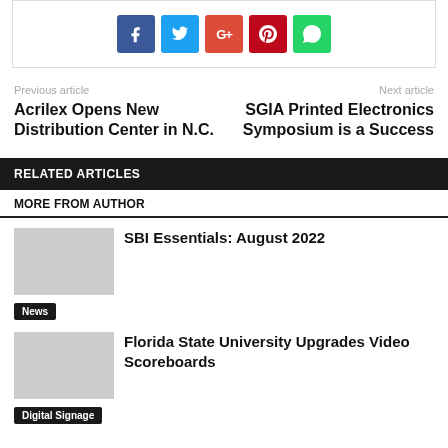[Figure (other): Social share buttons: Facebook (blue), Twitter (cyan), Google+ (red-orange), Pinterest (dark red), WhatsApp (green)]
Previous article
Acrilex Opens New Distribution Center in N.C.
Next article
SGIA Printed Electronics Symposium is a Success
RELATED ARTICLES
MORE FROM AUTHOR
SBI Essentials: August 2022
News
Florida State University Upgrades Video Scoreboards
Digital Signage